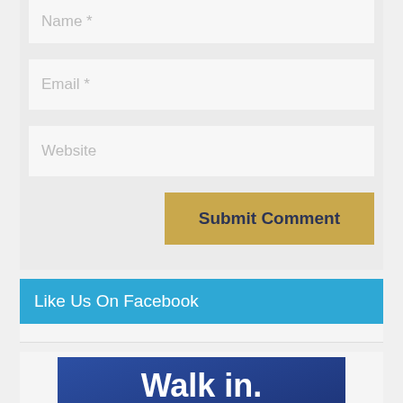Name *
Email *
Website
Submit Comment
Like Us On Facebook
[Figure (illustration): Blue gradient banner with bold white text: 'Walk in. Walk out.']